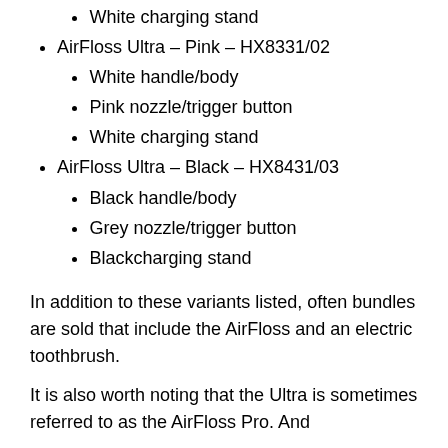White charging stand
AirFloss Ultra – Pink – HX8331/02
White handle/body
Pink nozzle/trigger button
White charging stand
AirFloss Ultra – Black – HX8431/03
Black handle/body
Grey nozzle/trigger button
Blackcharging stand
In addition to these variants listed, often bundles are sold that include the AirFloss and an electric toothbrush.
It is also worth noting that the Ultra is sometimes referred to as the AirFloss Pro. And